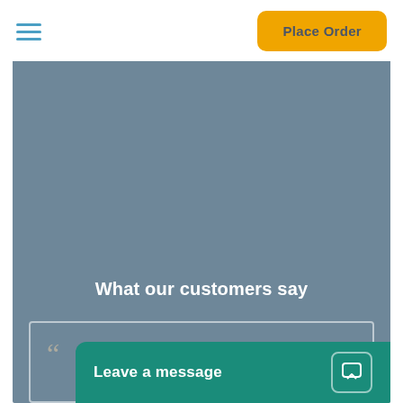[Figure (screenshot): Navigation bar with hamburger menu icon (three horizontal blue lines) on the left and an orange 'Place Order' button on the right]
What our customers say
Amazing services
[Figure (illustration): Partial circular avatar image at bottom of testimonial card]
Leave a message